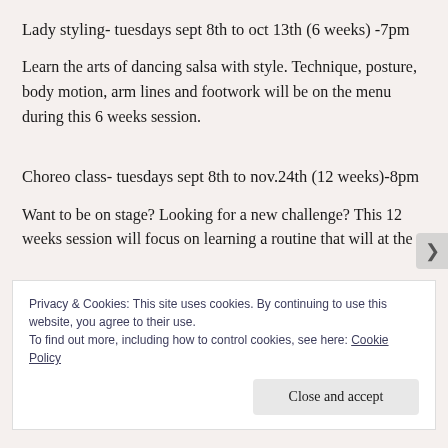Lady styling- tuesdays sept 8th to oct 13th (6 weeks) -7pm
Learn the arts of dancing salsa with style. Technique, posture, body motion, arm lines and footwork will be on the menu during this 6 weeks session.
Choreo class- tuesdays sept 8th to nov.24th (12 weeks)-8pm
Want to be on stage? Looking for a new challenge? This 12 weeks session will focus on learning a routine that will at the
Privacy & Cookies: This site uses cookies. By continuing to use this website, you agree to their use.
To find out more, including how to control cookies, see here: Cookie Policy
Close and accept